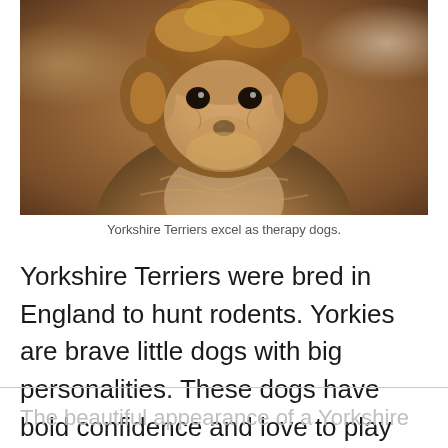[Figure (photo): Close-up photograph of a Yorkshire Terrier dog facing the camera, with tan and dark brown fur, against a blurred warm brown bokeh background.]
Yorkshire Terriers excel as therapy dogs.
Yorkshire Terriers were bred in England to hunt rodents. Yorkies are brave little dogs with big personalities. These dogs have bold confidence and love to play whenever given the chance.
The beautiful appearance of a Yorkshire